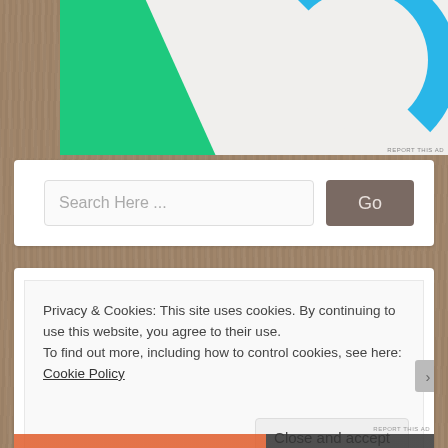[Figure (screenshot): Advertisement banner with green geometric shape on left and blue circle arc on right, on a light gray background. 'REPORT THIS AD' text at bottom right.]
[Figure (screenshot): Search bar UI element with 'Search Here ...' placeholder text and a gray 'Go' button.]
Privacy & Cookies: This site uses cookies. By continuing to use this website, you agree to their use.
To find out more, including how to control cookies, see here: Cookie Policy
Close and accept